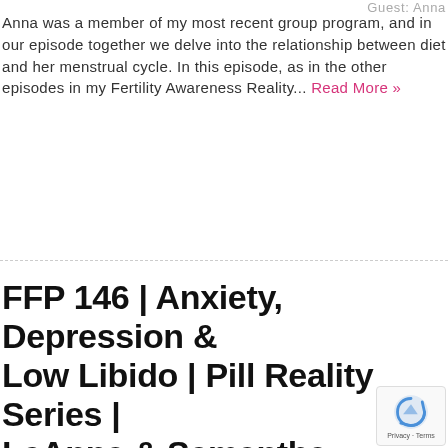Guest: Anna
Anna was a member of my most recent group program, and in our episode together we delve into the relationship between diet and her menstrual cycle. In this episode, as in the other episodes in my Fertility Awareness Reality... Read More »
FFP 146 | Anxiety, Depression & Low Libido | Pill Reality Series | LeAnna & Samantha